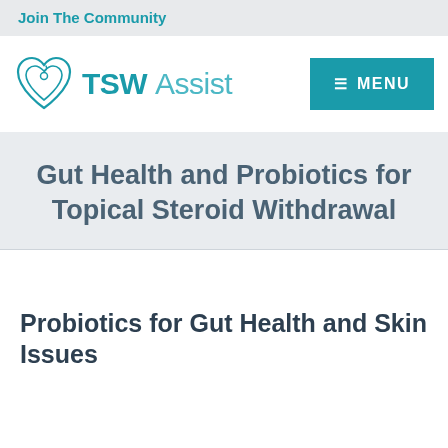Join The Community
[Figure (logo): TSW Assist logo with heart icon and teal text reading TSW Assist]
Gut Health and Probiotics for Topical Steroid Withdrawal
Probiotics for Gut Health and Skin Issues